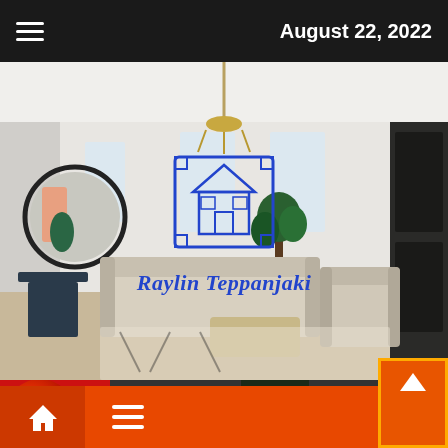August 22, 2022
[Figure (photo): Interior of a modern living room with white walls, round mirror, sofa, armchair, patterned rug, and chandelier. A blue house blueprint logo and italic text 'Raylin Teppanjaki' overlay the center of the image.]
Samsung Us
Home improvement